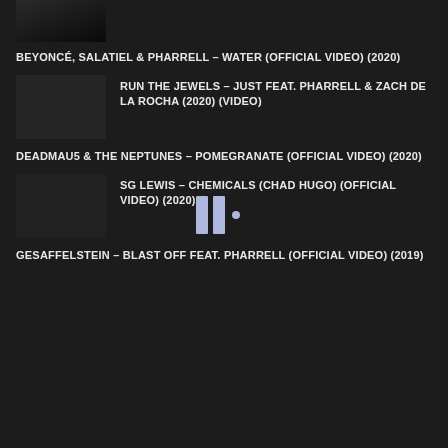[Figure (photo): Partially visible video thumbnail at top of page]
BEYONCÉ, SALATIEL & PHARRELL – WATER (OFFICIAL VIDEO) (2020)
RUN THE JEWELS – JUST FEAT. PHARRELL & ZACH DE LA ROCHA (2020) (VIDEO)
DEADMAU5 & THE NEPTUNES – POMEGRANATE (OFFICIAL VIDEO) (2020)
SG LEWIS – CHEMICALS (CHAD HUGO) (OFFICIAL VIDEO) (2020)
GESAFFELSTEIN – BLAST OFF FEAT. PHARRELL (OFFICIAL VIDEO) (2019)